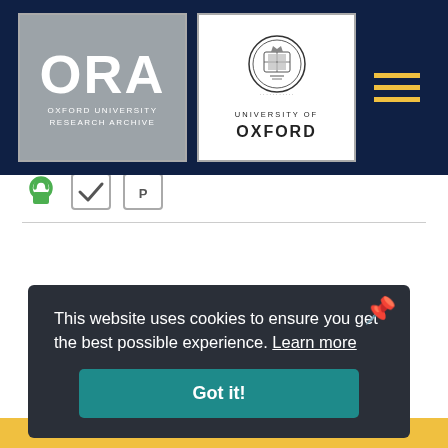[Figure (logo): ORA Oxford University Research Archive logo on dark navy header bar with hamburger menu and Oxford University crest logo]
Thesis
Completely iterative monads in semantics of coinductive programs
Pirog, M  | 2014
[Figure (other): Open access badge, peer review badge, and PDF badge icons]
This website uses cookies to ensure you get the best possible experience. Learn more
Got it!